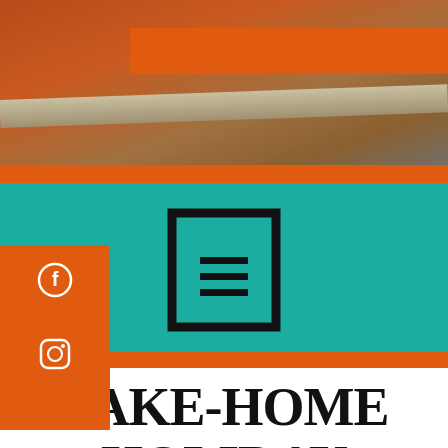[Figure (photo): Close-up photo of what appears to be food or baked goods with a metallic bar/rack, warm brown and orange tones, partially cropped at the top]
[Figure (logo): Menu/hamburger icon inside a square border, displayed on teal background with orange accent bar and social media icons (Facebook, Instagram) on the left orange sidebar]
TAKE-HOME HOLIDAY ORDER